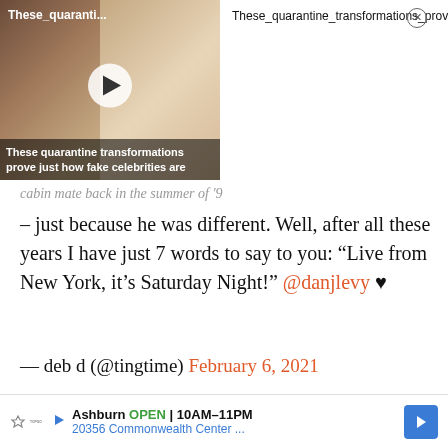[Figure (screenshot): Video thumbnail showing two people with overlay text 'These quarantine transformations prove just how fake celebrities are']
These_quarantine_transformations_prove_just_how_fake_celebrities_are_1080p
– just because he was different. Well, after all these years I have just 7 words to say to you: “Live from New York, it’s Saturday Night!” @danjlevy ♥
— deb d (@tingtime) February 6, 2021
Greatest parents ever
Ashburn OPEN 10AM–11PM 20356 Commonwealth Center ...